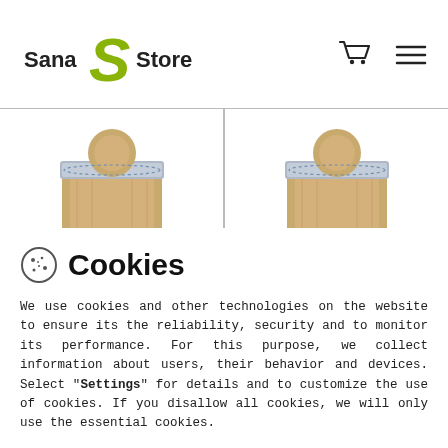Sana Store
[Figure (photo): Two wooden grain mill devices shown in product strip]
Cookies
We use cookies and other technologies on the website to ensure its the reliability, security and to monitor its performance. For this purpose, we collect information about users, their behavior and devices. Select "Settings" for details and to customize the use of cookies. If you disallow all cookies, we will only use the essential cookies.
SETTINGS
DISALLOW ALL COOKIES
SANA GRAIN MILL